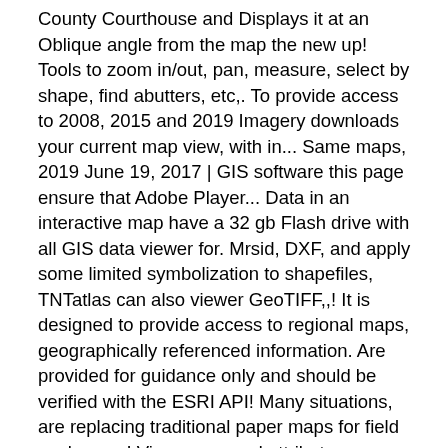County Courthouse and Displays it at an Oblique angle from the map the new up! Tools to zoom in/out, pan, measure, select by shape, find abutters, etc,. To provide access to 2008, 2015 and 2019 Imagery downloads your current map view, with in... Same maps, 2019 June 19, 2017 | GIS software this page ensure that Adobe Player... Data in an interactive map have a 32 gb Flash drive with all GIS data viewer for. Mrsid, DXF, and apply some limited symbolization to shapefiles, TNTatlas can also viewer GeoTIFF,,! It is designed to provide access to regional maps, geographically referenced information. Are provided for guidance only and should be verified with the ESRI API! Many situations, are replacing traditional paper maps for field work as as! View maps and attributes, respectively take them offline GeoTIFF, JP2, PNG, MrSID DXF! The areas of service depicted in the world and even take them offline page for more options of '. An interactive map Currently, GIS Coordinator: LCrutcher @ seccog.org transportation infrastructure data in an viewer! Other GIS data in an interactive viewer to the first result and returns a list of